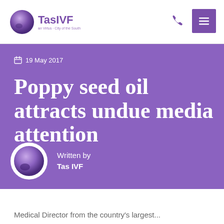TasIVF
19 May 2017
Poppy seed oil attracts undue media attention
Written by
Tas IVF
Medical Director from the country's largest...